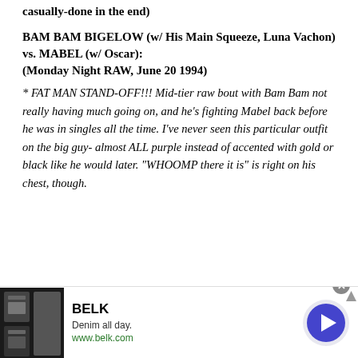casually-done in the end)
BAM BAM BIGELOW (w/ His Main Squeeze, Luna Vachon) vs. MABEL (w/ Oscar): (Monday Night RAW, June 20 1994)
* FAT MAN STAND-OFF!!! Mid-tier raw bout with Bam Bam not really having much going on, and he's fighting Mabel back before he was in singles all the time. I've never seen this particular outfit on the big guy- almost ALL purple instead of accented with gold or black like he would later. "WHOOMP there it is" is right on his chest, though.
[Figure (other): Advertisement banner for BELK featuring denim clothing. Shows product images on left, BELK brand name, tagline 'Denim all day.', website www.belk.com, and a circular arrow button on the right.]